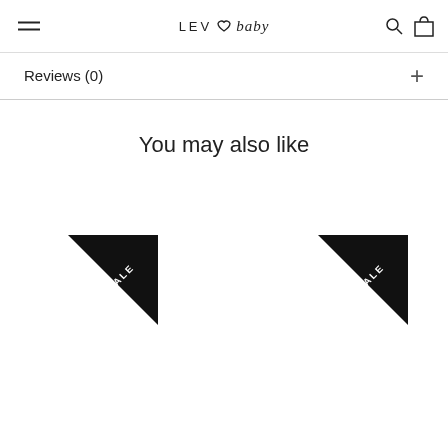LEV ♡ baby
Reviews (0)
You may also like
[Figure (other): Two SALE badge triangles (corner ribbon style) in black with white text, positioned in the lower half of the page]
SALE